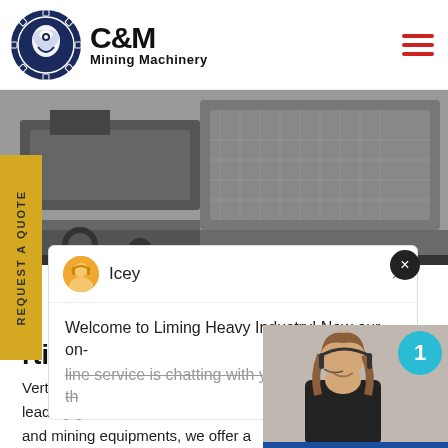[Figure (logo): C&M Mining Machinery logo with eagle gear emblem in navy blue and black text]
[Figure (photo): Hero image of industrial mining crushing equipment machinery in black and white]
REQUEST A QUOTE
Icey
Welcome to Liming Heavy Industry! Now our on-line service is chatting with you! Please choose th
rtical Crusher Polymer
Vertical Crusher Polymers System leading global manufacturer of cru and mining equipments, we offer a
[Figure (photo): Customer service representative with headset, chat widget with Click to Chat button]
Click to Chat
Enquiry